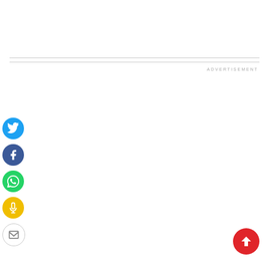ADVERTISEMENT
[Figure (infographic): Social sharing buttons: Twitter (blue circle), Facebook (dark blue circle), WhatsApp (green circle), Digg (yellow circle), Email (white circle with border)]
[Figure (infographic): Scroll-to-top button: red circle with white upward arrow]